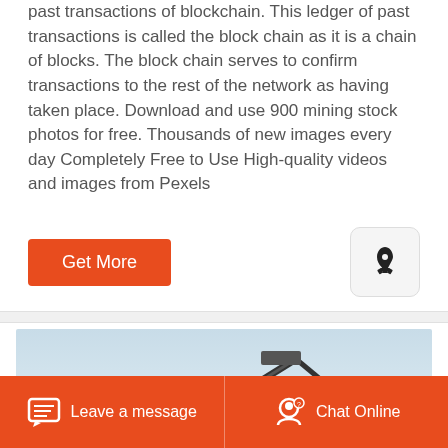past transactions of blockchain. This ledger of past transactions is called the block chain as it is a chain of blocks. The block chain serves to confirm transactions to the rest of the network as having taken place. Download and use 900 mining stock photos for free. Thousands of new images every day Completely Free to Use High-quality videos and images from Pexels
[Figure (other): Orange 'Get More' button on the left and a rocket icon button on the right]
[Figure (photo): A mining machine or conveyor equipment photographed in a desert landscape against a pale blue sky]
Leave a message
Chat Online